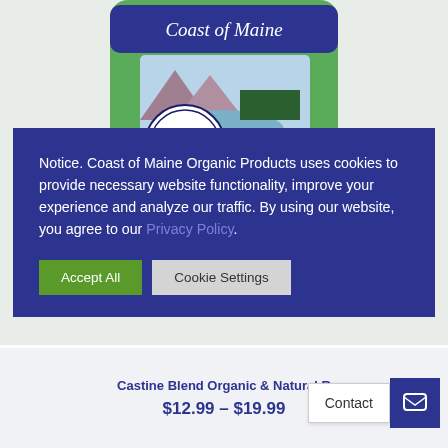[Figure (photo): Coast of Maine organic product bag (green bag) with 'Coast of Maine' text on blue banner, 'Approved for Organic Growers' seal, OMRI label, and landscape illustration. The bag is partially visible behind a cookie consent overlay.]
Notice. Coast of Maine Organic Products uses cookies to provide necessary website functionality, improve your experience and analyze our traffic. By using our website, you agree to our Privacy Policy.
Accept All
Cookie Settings
Castine Blend Organic & Natural R
$12.99 – $19.99
Contact